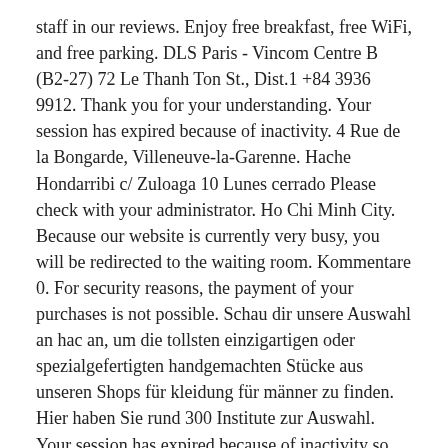staff in our reviews. Enjoy free breakfast, free WiFi, and free parking. DLS Paris - Vincom Centre B (B2-27) 72 Le Thanh Ton St., Dist.1 +84 3936 9912. Thank you for your understanding. Your session has expired because of inactivity. 4 Rue de la Bongarde, Villeneuve-la-Garenne. Hache Hondarribi c/ Zuloaga 10 Lunes cerrado Please check with your administrator. Ho Chi Minh City. Because our website is currently very busy, you will be redirected to the waiting room. Kommentare 0. For security reasons, the payment of your purchases is not possible. Schau dir unsere Auswahl an hac an, um die tollsten einzigartigen oder spezialgefertigten handgemachten Stücke aus unseren Shops für kleidung für männer zu finden. Hier haben Sie rund 300 Institute zur Auswahl. Your session has expired because of inactivity so your ticket could not be generated. Popular attractions Ben Thanh Market and Pham Ngu Lao Backpacker Area are located nearby. Your shopping cart has expired. Das Unternehmen ist wirtschaftsaktiv. Kadewere : « Pour le moment, je me concentre sur le HAC » Tino a parlé. Please try again later or refresh the page. Pomoć ; Prijavi se; HR. Senden Sie uns anschließend eine Anfrage oder begeben sich direkt auf Immobiliensuche.